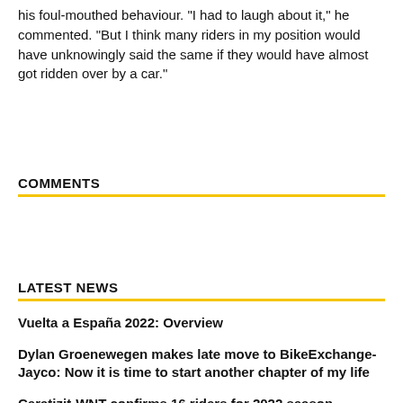his foul-mouthed behaviour. "I had to laugh about it," he commented. "But I think many riders in my position would have unknowingly said the same if they would have almost got ridden over by a car."
COMMENTS
LATEST NEWS
Vuelta a España 2022: Overview
Dylan Groenewegen makes late move to BikeExchange-Jayco: Now it is time to start another chapter of my life
Ceratizit-WNT confirms 16 riders for 2022 season